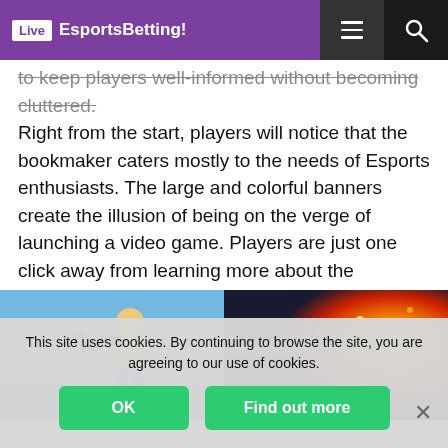Live EsportsBetting!
to keep players well-informed without becoming cluttered. Right from the start, players will notice that the bookmaker caters mostly to the needs of Esports enthusiasts. The large and colorful banners create the illusion of being on the verge of launching a video game. Players are just one click away from learning more about the bookmaker, the casino and the FAQ section provides answers to most of the common questions.
[Figure (screenshot): A Fortnite-style game banner showing an armed character running on the left against a blue sky background, and an explosion of fire and sparks on the right side.]
This site uses cookies. By continuing to browse the site, you are agreeing to our use of cookies.